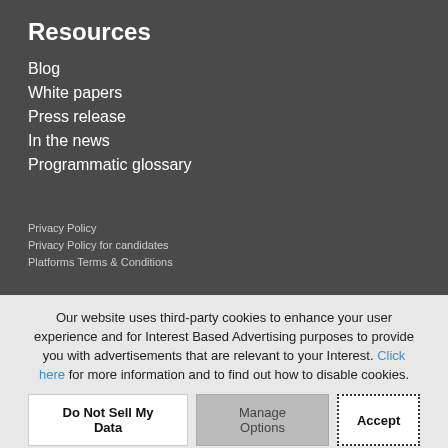Resources
Blog
White papers
Press release
In the news
Programmatic glossary
Privacy Policy
Privacy Policy for candidates
Platforms Terms & Conditions
Our website uses third-party cookies to enhance your user experience and for Interest Based Advertising purposes to provide you with advertisements that are relevant to your Interest. Click here for more information and to find out how to disable cookies.
Do Not Sell My Data | Manage Options | Accept